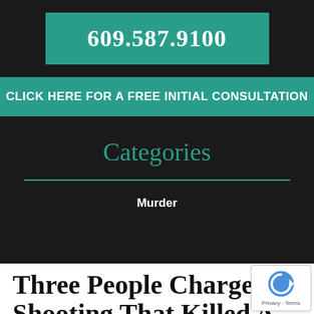609.587.9100
CLICK HERE FOR A FREE INITIAL CONSULTATION
Categories
Murder
Three People Charged in Shooting That Killed A 22-Year-Old Man in Trenton